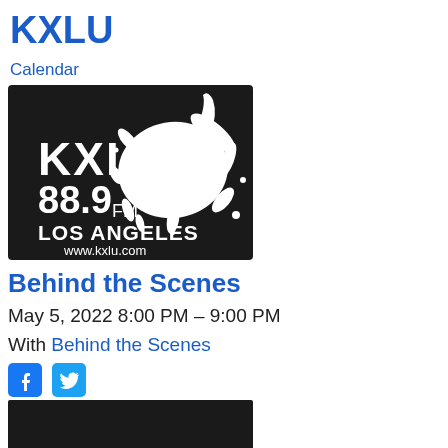KXLU
Calendar
[Figure (logo): KXLU 88.9 FM Los Angeles www.kxlu.com logo on black background with white paint splatter]
Behind the Scenes
May 5, 2022 8:00 PM – 9:00 PM
With Behind the Scenes
[Figure (other): Social media icons: Facebook and Twitter]
[Figure (photo): Partial dark image at bottom of page]